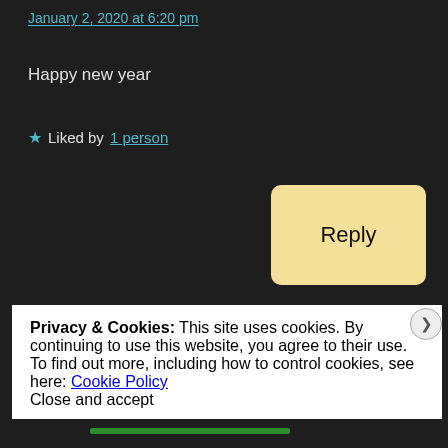January 2, 2020 at 6:20 pm
Happy new year
★ Liked by 1 person
Reply
Freddiemercuryonline
Privacy & Cookies: This site uses cookies. By continuing to use this website, you agree to their use.
To find out more, including how to control cookies, see here: Cookie Policy
Close and accept